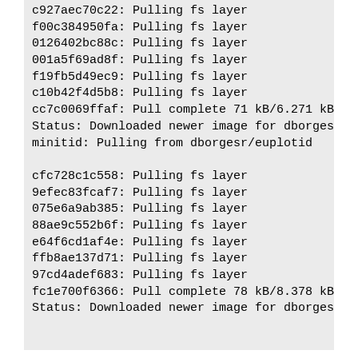c927aec70c22: Pulling fs layer
f00c384950fa: Pulling fs layer
0126402bc88c: Pulling fs layer
001a5f69ad8f: Pulling fs layer
f19fb5d49ec9: Pulling fs layer
c10b42f4d5b8: Pulling fs layer
cc7c0069ffaf: Pull complete 71 kB/6.271 kB
Status: Downloaded newer image for dborgesr
minitid: Pulling from dborgesr/euplotid

cfc728c1c558: Pulling fs layer
9efec83fcaf7: Pulling fs layer
075e6a9ab385: Pulling fs layer
88ae9c552b6f: Pulling fs layer
e64f6cd1af4e: Pulling fs layer
ffb8ae137d71: Pulling fs layer
97cd4adef683: Pulling fs layer
fc1e700f6366: Pull complete 78 kB/8.378 kB
Status: Downloaded newer image for dborgesr